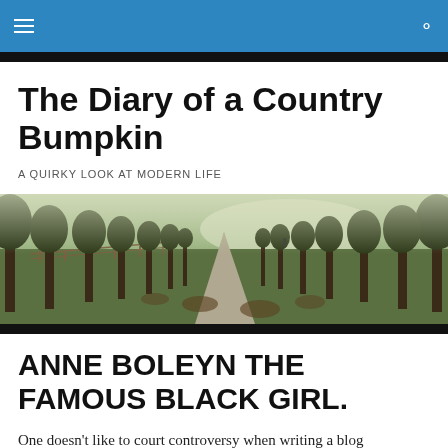The Diary of a Country Bumpkin — navigation bar
The Diary of a Country Bumpkin
A QUIRKY LOOK AT MODERN LIFE
[Figure (photo): A wide-angle photo of a leafy tree-lined country lane path stretching into the distance, with a wooden fence on the left and golden-green grass]
ANNE BOLEYN THE FAMOUS BLACK GIRL.
One doesn't like to court controversy when writing a blog